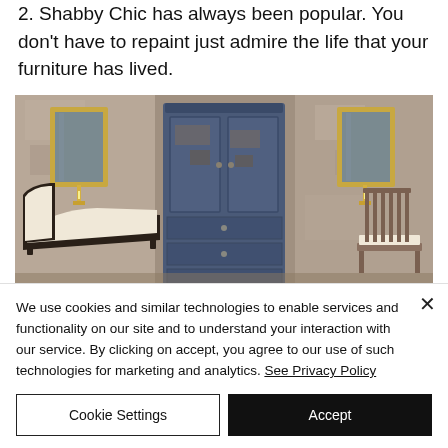2. Shabby Chic has always been popular. You don't have to repaint just admire the life that your furniture has lived.
[Figure (photo): Shabby chic vintage room with a large distressed blue armoire/wardrobe in the center, flanked by two ornate gilt-framed mirrors with candle sconces, a white upholstered chaise longue on the left, and a wooden chair with white cushion on the right. The walls are aged and peeling.]
We use cookies and similar technologies to enable services and functionality on our site and to understand your interaction with our service. By clicking on accept, you agree to our use of such technologies for marketing and analytics. See Privacy Policy
Cookie Settings
Accept